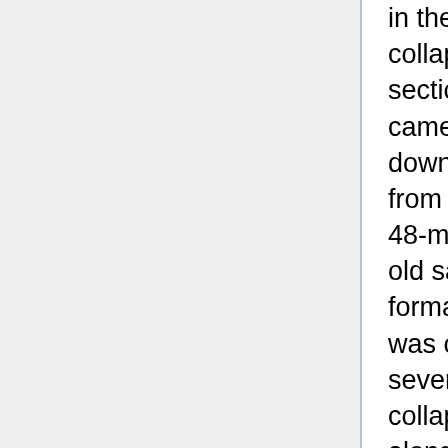in the collapse. The section that came tumbling down was from a 45- to 48-million-year old sandstone formation and was one of several collapses along that same stretch of beach in the state park. (Read More)
February 12, 2009 - NASA Lunar Science